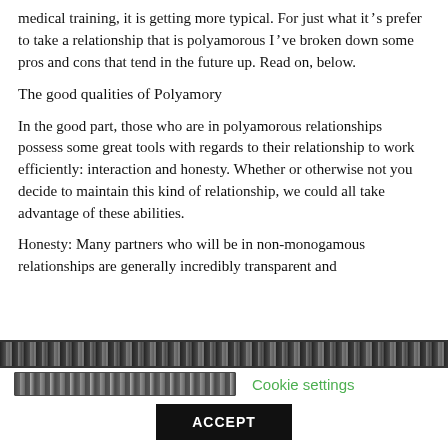medical training, it is getting more typical. For just what it’s prefer to take a relationship that is polyamorous I’ve broken down some pros and cons that tend in the future up. Read on, below.
The good qualities of Polyamory
In the good part, those who are in polyamorous relationships possess some great tools with regards to their relationship to work efficiently: interaction and honesty. Whether or otherwise not you decide to maintain this kind of relationship, we could all take advantage of these abilities.
Honesty: Many partners who will be in non-monogamous relationships are generally incredibly transparent and
[Figure (other): Cookie consent banner with a patterned/encoded top bar, a second row with encoded text block and a green 'Cookie settings' link, and an ACCEPT button below.]